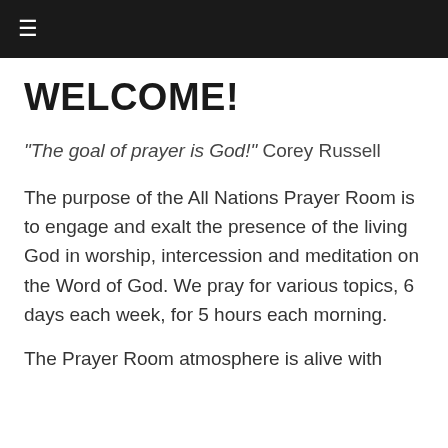≡
WELCOME!
"The goal of prayer is God!" Corey Russell
The purpose of the All Nations Prayer Room is to engage and exalt the presence of the living God in worship, intercession and meditation on the Word of God. We pray for various topics, 6 days each week, for 5 hours each morning.
The Prayer Room atmosphere is alive with